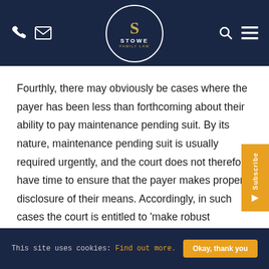[Figure (logo): Stowe Family Law logo — dark navy circle with decorative S and text STOWE / FAMILY LAW, navigation bar with phone, email, search and menu icons]
Fourthly, there may obviously be cases where the payer has been less than forthcoming about their ability to pay maintenance pending suit. By its nature, maintenance pending suit is usually required urgently, and the court does not therefore have time to ensure that the payer makes proper disclosure of their means. Accordingly, in such cases the court is entitled to ‘make robust assumptions’ about the payer’s ability to pay, instead of merely relying upon what the payer says.
This site uses cookies: Find out more.   Okay, thank you